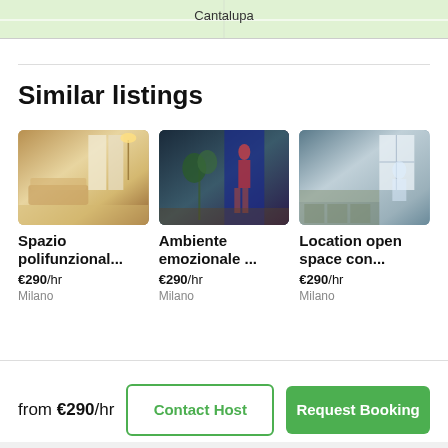[Figure (screenshot): Partial map view showing Cantalupa location label on green/white map background]
Similar listings
[Figure (photo): Interior photo of a multifunctional space with warm lighting, sofas, and curtains]
Spazio polifunzional...
€290/hr
Milano
[Figure (photo): Interior photo of an emotive ambient space with mannequins, plants, and blue lighting]
Ambiente emozionale ...
€290/hr
Milano
[Figure (photo): Interior photo of an open space location with kitchen area and natural light]
Location open space con...
€290/hr
Milano
from €290/hr
Contact Host
Request Booking